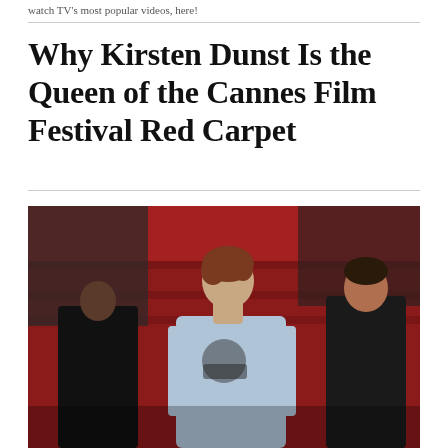watch TV's most popular videos, here!
Why Kirsten Dunst Is the Queen of the Cannes Film Festival Red Carpet
[Figure (photo): Kirsten Dunst standing on the Cannes Film Festival red carpet wearing a light blue long-sleeve dress, with red stairs and crowd visible in background, a woman in black dress and a man in dark suit beside her.]